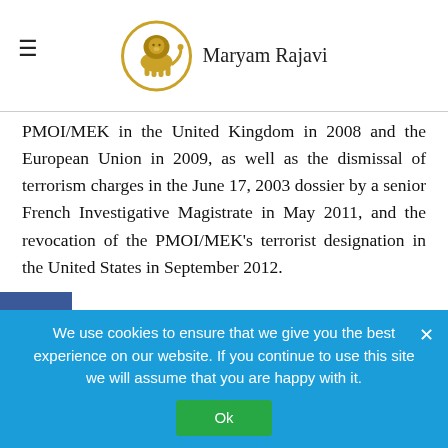Maryam Rajavi
PMOI/MEK in the United Kingdom in 2008 and the European Union in 2009, as well as the dismissal of terrorism charges in the June 17, 2003 dossier by a senior French Investigative Magistrate in May 2011, and the revocation of the PMOI/MEK’s terrorist designation in the United States in September 2012.
International Campaign in Defense of PMOI/MEK Members in Ashraf and Liberty
We use cookies to ensure that we give you the best experience on our website. If you continue to use this site we will assume that you are happy with it.